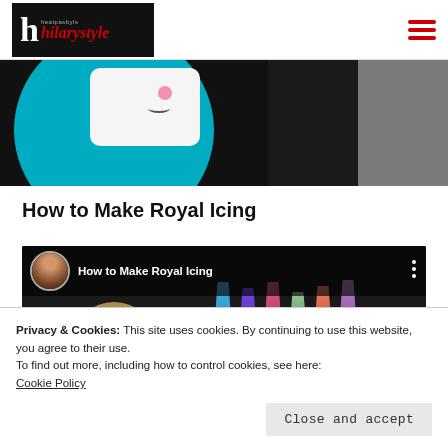hilarystyle
[Figure (photo): Partial view of a decorated cookie on a teal plate with white fondant shape and pink dot, dark background, white crystalline substance on right side]
How to Make Royal Icing
[Figure (screenshot): Video thumbnail showing 'How to Make Royal Icing' with avatar of woman on left, cookie shapes and icing tips in background]
Privacy & Cookies: This site uses cookies. By continuing to use this website, you agree to their use.
To find out more, including how to control cookies, see here:
Cookie Policy
Close and accept